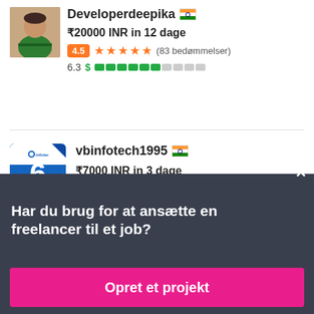[Figure (screenshot): Profile photo of Developerdeepika - woman in green saree]
Developerdeepika 🇮🇳
₹20000 INR in 12 dage
4.5 ★★★★½ (83 bedømmelser)
6.3 $ ██████░░░░
[Figure (logo): vbinfotech1995 badge - blue diamond shape with 6 years of eminence]
vbinfotech1995 🇮🇳
₹7000 INR in 3 dage
4.8 ★★★★★ (55 bedømmelser)
Har du brug for at ansætte en freelancer til et job?
Opret et projekt